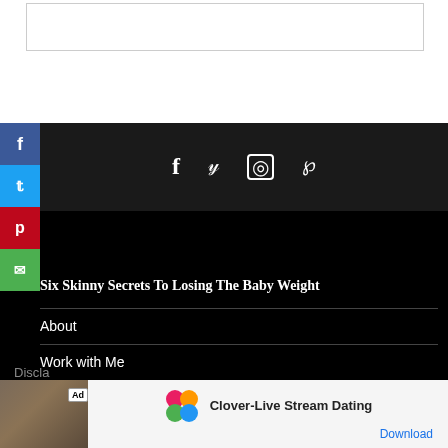[Figure (screenshot): Top white area with border box, social media sidebar buttons (Facebook blue, Twitter blue, Pinterest red, Email green), dark navigation bar with social icons (f, bird, circle, P), black content area below]
Six Skinny Secrets To Losing The Baby Weight
About
Work with Me
Discla
[Figure (screenshot): Ad banner: photo of blonde woman, Clover app icon, text 'Clover-Live Stream Dating', Download link]